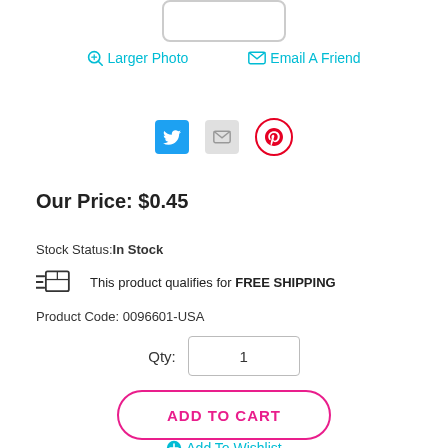[Figure (illustration): Partial product image box outline at top of page]
🔍 Larger Photo   ✉ Email A Friend
[Figure (infographic): Social sharing icons: Twitter (blue bird), Email (grey envelope), Pinterest (red P circle)]
Our Price: $0.45
Stock Status: In Stock
This product qualifies for FREE SHIPPING
Product Code: 0096601-USA
Qty: 1
ADD TO CART
Add To Wishlist